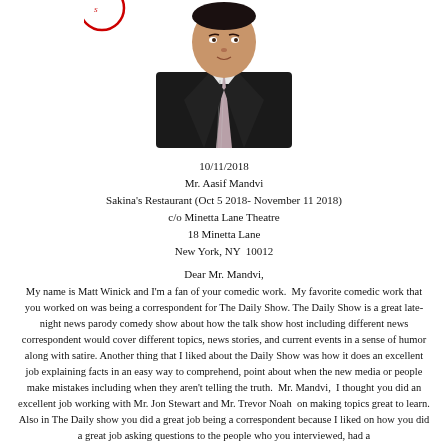[Figure (photo): A man in a dark suit and striped tie, photographed from roughly the chest up, with a decorative circular logo/emblem partially visible at top left.]
10/11/2018
Mr. Aasif Mandvi
Sakina's Restaurant (Oct 5 2018- November 11 2018)
c/o Minetta Lane Theatre
18 Minetta Lane
New York, NY  10012
Dear Mr. Mandvi,
My name is Matt Winick and I'm a fan of your comedic work.  My favorite comedic work that you worked on was being a correspondent for The Daily Show. The Daily Show is a great late-night news parody comedy show about how the talk show host including different news correspondent would cover different topics, news stories, and current events in a sense of humor along with satire. Another thing that I liked about the Daily Show was how it does an excellent job explaining facts in an easy way to comprehend, point about when the new media or people make mistakes including when they aren't telling the truth.  Mr. Mandvi,  I thought you did an excellent job working with Mr. Jon Stewart and Mr. Trevor Noah  on making topics great to learn. Also in The Daily show you did a great job being a correspondent because I liked on how you did a great job asking questions to the people who you interviewed, had a